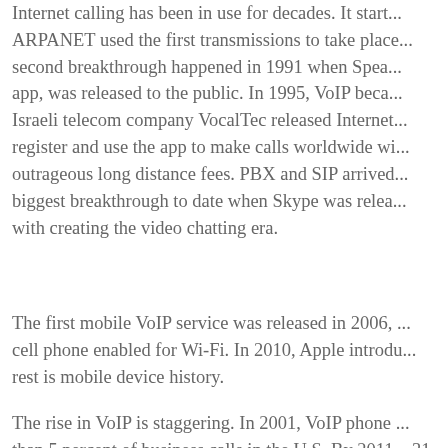Internet calling has been in use for decades. It start... ARPANET used the first transmissions to take place... second breakthrough happened in 1991 when Spea... app, was released to the public. In 1995, VoIP beca... Israeli telecom company VocalTec released Internet... register and use the app to make calls worldwide wi... outrageous long distance fees. PBX and SIP arrived... biggest breakthrough to date when Skype was relea... with creating the video chatting era.
The first mobile VoIP service was released in 2006, ... cell phone enabled for Wi-Fi. In 2010, Apple introdu... rest is mobile device history.
The rise in VoIP is staggering. In 2001, VoIP phone ... than 5 percent of business calls in the U.S. By 2011... 31 percent. It was predicted that in 2012, the busi...